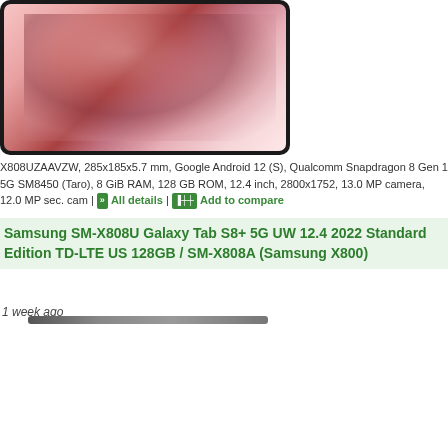[Figure (photo): Samsung Galaxy Tab S8+ tablet showing pink abstract wallpaper on screen, dark frame, top portion of page]
X808UZAAVZW, 285x185x5.7 mm, Google Android 12 (S), Qualcomm Snapdragon 8 Gen 1 5G SM8450 (Taro), 8 GiB RAM, 128 GB ROM, 12.4 inch, 2800x1752, 13.0 MP camera, 12.0 MP sec. cam | All details | Add to compare
Samsung SM-X808U Galaxy Tab S8+ 5G UW 12.4 2022 Standard Edition TD-LTE US 128GB / SM-X808A (Samsung X800)
1 week ago
[Figure (photo): Samsung Galaxy Tab S8+ tablet with stylus pen above it, showing pink abstract wallpaper on screen, dark frame, bottom portion of page]